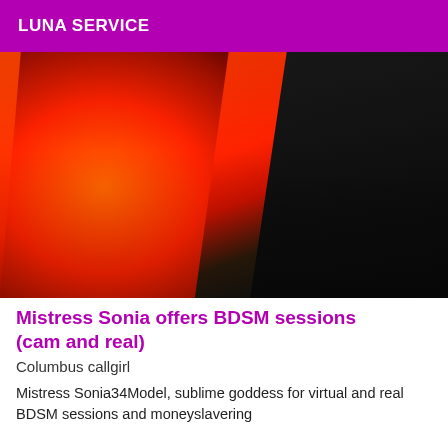LUNA SERVICE
[Figure (photo): Person in red/orange outfit against dark background]
Mistress Sonia offers BDSM sessions (cam and real)
Columbus callgirl
Mistress Sonia34Model, sublime goddess for virtual and real BDSM sessions and moneyslavering